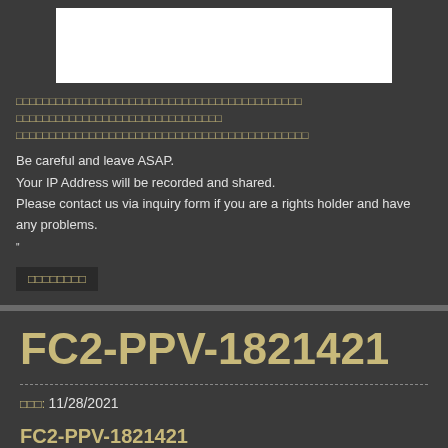[Figure (other): White rectangular image/video placeholder area]
Thai language text (redacted characters)
Be careful and leave ASAP.
Your IP Address will be recorded and shared.
Please contact us via inquiry form if you are a rights holder and have any problems.
"
Thai inquiry button text
FC2-PPV-1821421
Thai label: 11/28/2021
FC2-PPV-1821421
FC2-PPV